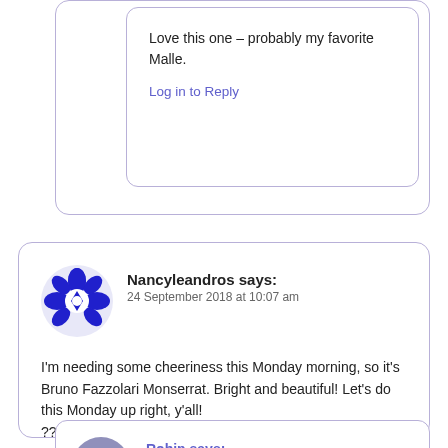Love this one – probably my favorite Malle.
Log in to Reply
Nancyleandros says:
24 September 2018 at 10:07 am
I'm needing some cheeriness this Monday morning, so it's Bruno Fazzolari Monserrat. Bright and beautiful! Let's do this Monday up right, y'all! ??????????????????????????
Log in to Reply
Robin says:
24 September 2018 at 12:04 pm